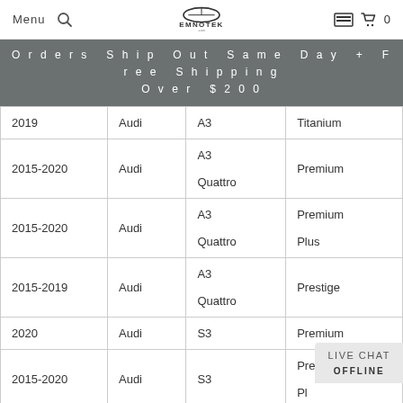Menu | [search icon] | EMNOTEK logo | [store icon] | 0
Orders Ship Out Same Day + Free Shipping Over $200
| Year | Make | Model | Trim |
| --- | --- | --- | --- |
| 2019 | Audi | A3 | Titanium |
| 2015-2020 | Audi | A3 Quattro | Premium |
| 2015-2020 | Audi | A3 Quattro | Premium Plus |
| 2015-2019 | Audi | A3 Quattro | Prestige |
| 2020 | Audi | S3 | Premium |
| 2015-2020 | Audi | S3 | Premium Plus |
| 2015-2019 | Audi | S3 | Prestige |